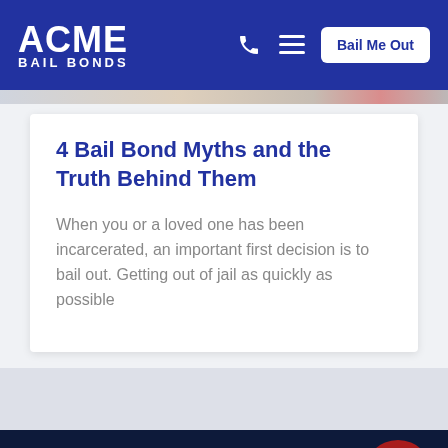ACME BAIL BONDS | Phone | Menu | Bail Me Out
4 Bail Bond Myths and the Truth Behind Them
When you or a loved one has been incarcerated, an important first decision is to bail out. Getting out of jail as quickly as possible
Nearby Cities